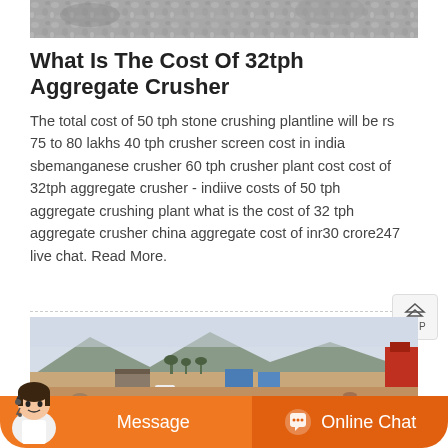[Figure (photo): Partial top view of aggregate/gravel material, cropped at top of page]
What Is The Cost Of 32tph Aggregate Crusher
The total cost of 50 tph stone crushing plantline will be rs 75 to 80 lakhs 40 tph crusher screen cost in india sbemanganese crusher 60 tph crusher plant cost cost of 32tph aggregate crusher - indiive costs of 50 tph aggregate crushing plant what is the cost of 32 tph aggregate crusher china aggregate cost of inr30 crore247 live chat. Read More.
[Figure (photo): Outdoor aggregate crushing plant site with mountains in background, blue tarpaulins, vehicles and machinery visible]
Message
Online Chat